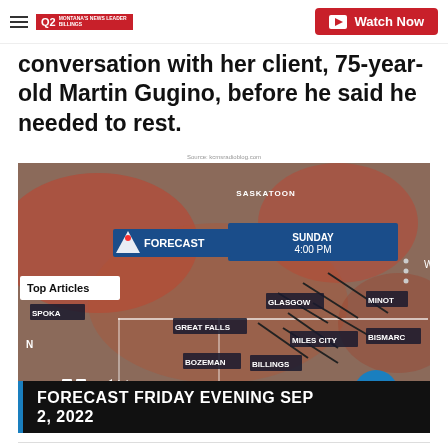Q2 Montana's News Leader BILLINGS | Watch Now
conversation with her client, 75-year-old Martin Gugino, before he said he needed to rest.
Source: kcmsradioblog.com
[Figure (screenshot): Weather forecast video screenshot showing a meteorologist in front of a weather map with cities including Saskatoon, Glasgow, Minot, Bismarc, Spokane, Great Falls, Miles City, Bozeman, Billings, Rapid City. Overlay shows 'Top Articles', play/pause controls, mute button, and next arrow. Lower bar reads: 'FORECAST FRIDAY EVENING SEP 2, 2022'. Blue panel in top right shows 'SUNDAY 4:00 PM'.]